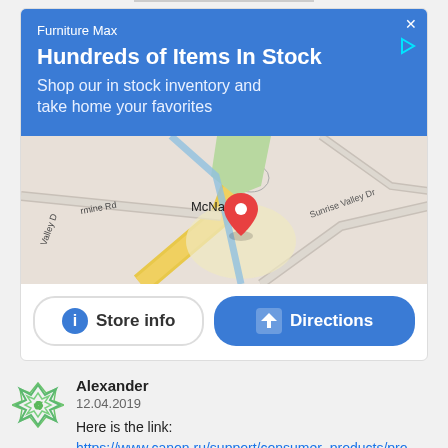[Figure (screenshot): Google ad for Furniture Max showing blue banner with text 'Furniture Max', 'Hundreds of Items In Stock', 'Shop our in stock inventory and take home your favorites', a Google Maps view near McNair with a red location pin, and two buttons: 'Store info' and 'Directions']
Alexander
12.04.2019
Here is the link:
https://www.canon.ru/support/consumer_products/pro ducts/cameras/digital/...